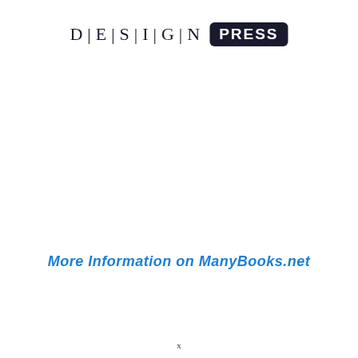[Figure (logo): DESIGN PRESS logo — 'DESIGN' in spaced serif letters, 'PRESS' in white on black rounded rectangle badge]
More Information on ManyBooks.net
x